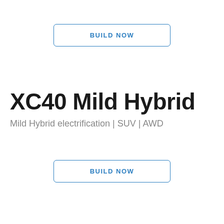[Figure (other): BUILD NOW button at top, blue outlined rounded rectangle with blue bold text 'BUILD NOW']
XC40 Mild Hybrid
Mild Hybrid electrification | SUV | AWD
[Figure (other): BUILD NOW button at bottom, blue outlined rounded rectangle with blue bold text 'BUILD NOW']